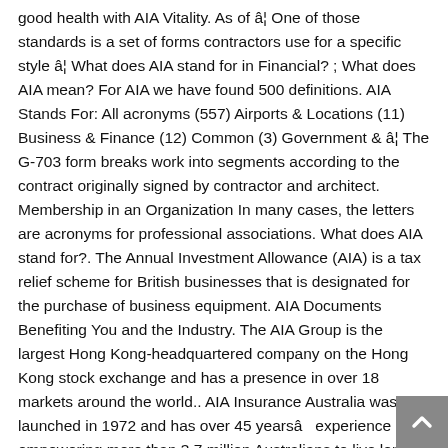good health with AIA Vitality. As of â¦ One of those standards is a set of forms contractors use for a specific style â¦ What does AIA stand for in Financial? ; What does AIA mean? For AIA we have found 500 definitions. AIA Stands For: All acronyms (557) Airports & Locations (11) Business & Finance (12) Common (3) Government & â¦ The G-703 form breaks work into segments according to the contract originally signed by contractor and architect. Membership in an Organization In many cases, the letters are acronyms for professional associations. What does AIA stand for?. The Annual Investment Allowance (AIA) is a tax relief scheme for British businesses that is designated for the purchase of business equipment. AIA Documents Benefiting You and the Industry. The AIA Group is the largest Hong Kong-headquartered company on the Hong Kong stock exchange and has a presence in over 18 markets around the world.. AIA Insurance Australia was launched in 1972 and has over 45 yearsâ experience empowering more than 3.7 million Australians to live longer, healthier â¦ AIA stands for âAttitude is Altitude.â It is a breakthrough K-12 curriculum that focuses on Social and Emotional Learning, positivity and anti-bullying. Architecture AIA abbreviation meaning defined here. [9],